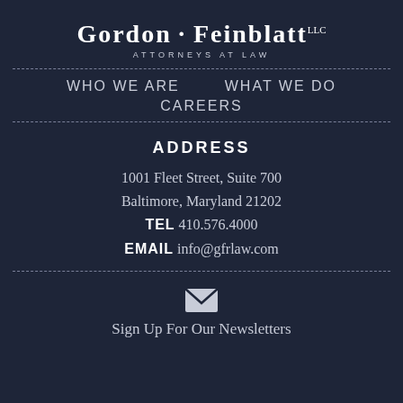[Figure (logo): Gordon Feinblatt LLC Attorneys at Law law firm logo]
WHO WE ARE
WHAT WE DO
CAREERS
ADDRESS
1001 Fleet Street, Suite 700
Baltimore, Maryland 21202
TEL 410.576.4000
EMAIL info@gfrlaw.com
Sign Up For Our Newsletters